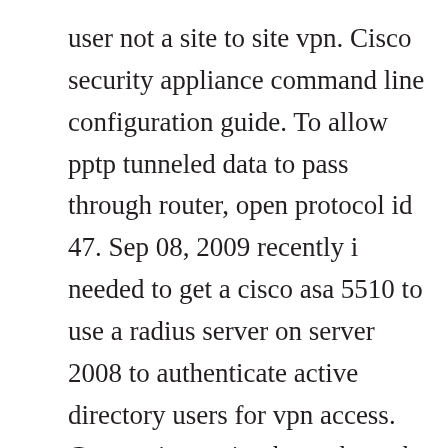user not a site to site vpn. Cisco security appliance command line configuration guide. To allow pptp tunneled data to pass through router, open protocol id 47. Sep 08, 2009 recently i needed to get a cisco asa 5510 to use a radius server on server 2008 to authenticate active directory users for vpn access. Connection an ip phone through vpn ars technica openforum. Pix firewalls provide an array of integrated security and networking services, including advanced applicationaware firewall services, voip and digital media security, multisite and content security,